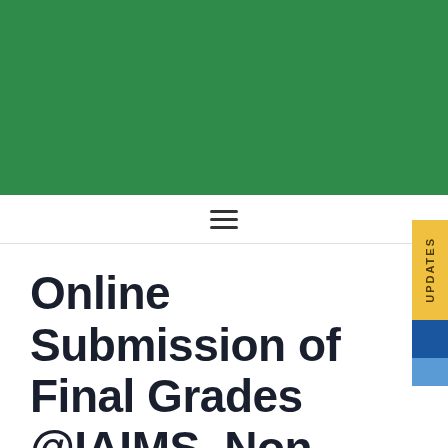[Figure (other): Green header banner background]
[Figure (other): Navigation bar with hamburger menu icon]
[Figure (other): Yellow vertical UPDATES tab on right side]
Online Submission of Final Grades @IAIMS, Non-